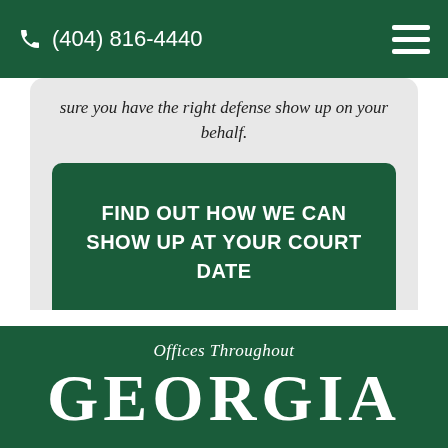(404) 816-4440
sure you have the right defense show up on your behalf.
FIND OUT HOW WE CAN SHOW UP AT YOUR COURT DATE
Offices Throughout GEORGIA